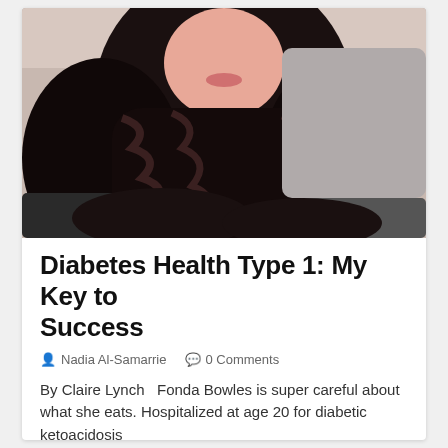[Figure (photo): Portrait photo of a young woman with long dark wavy hair, smiling, taken from a selfie angle indoors.]
Diabetes Health Type 1: My Key to Success
Nadia Al-Samarrie   0 Comments
By Claire Lynch   Fonda Bowles is super careful about what she eats. Hospitalized at age 20 for diabetic ketoacidosis
Read more